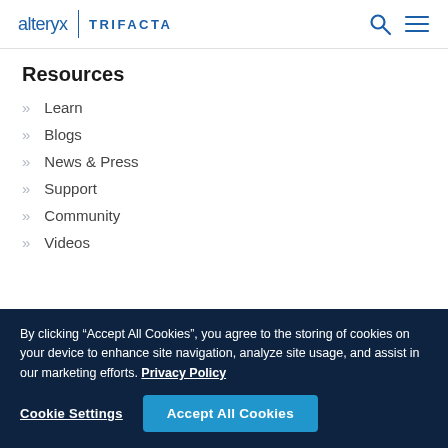alteryx | TRIFACTA
Resources
Learn
Blogs
News & Press
Support
Community
Videos
By clicking “Accept All Cookies”, you agree to the storing of cookies on your device to enhance site navigation, analyze site usage, and assist in our marketing efforts. Privacy Policy
Cookie Settings
Accept All Cookies